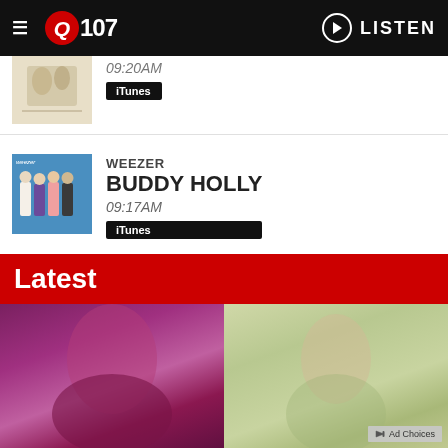Q107 — LISTEN
09:20AM
iTunes
WEEZER
BUDDY HOLLY
09:17AM
iTunes
RUSH
TOM SAWYER
09:13AM
iTunes
View Full Playlist →
Latest
[Figure (photo): Two images side by side: left shows a person with purple/pink lighting, right shows a person outdoors]
Ad Choices